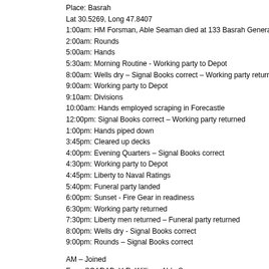Place: Basrah
Lat 30.5269, Long 47.8407
1:00am: HM Forsman, Able Seaman died at 133 Basrah General Hosp
2:00am: Rounds
5:00am: Hands
5:30am: Morning Routine - Working party to Depot
8:00am: Wells dry – Signal Books correct – Working party returned
9:00am: Working party to Depot
9:10am: Divisions
10:00am: Hands employed scraping in Forecastle
12:00pm: Signal Books correct – Working party returned
1:00pm: Hands piped down
3:45pm: Cleared up decks
4:00pm: Evening Quarters – Signal Books correct
4:30pm: Working party to Depot
4:45pm: Liberty to Naval Ratings
5:40pm: Funeral party landed
6:00pm: Sunset - Fire Gear in readiness
6:30pm: Working party returned
7:30pm: Liberty men returned – Funeral party returned
8:00pm: Wells dry - Signal Books correct
9:00pm: Rounds – Signal Books correct
AM – Joined
From SCARAB: H.R. William, Able Seaman
AM – Discharged
To Shore: Nasir, Pilot
PM – Joined